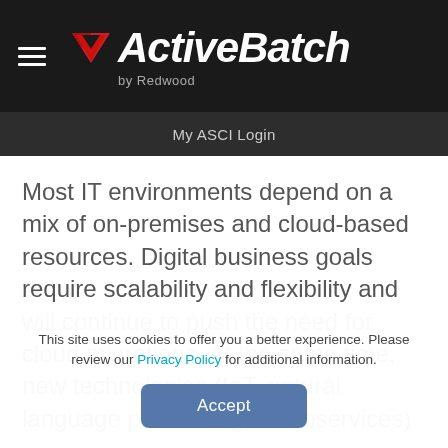[Figure (logo): ActiveBatch by Redwood logo with red triangle/arrow icon, white bold italic text, hamburger menu icon on dark background]
My ASCI Login
Most IT environments depend on a mix of on-premises and cloud-based resources. Digital business goals require scalability and flexibility and will continue to push the need for cloud migrations. At the same time, new technologies (IoT, natural language processing, microservices)
This site uses cookies to offer you a better experience. Please review our Privacy Policy for additional information.